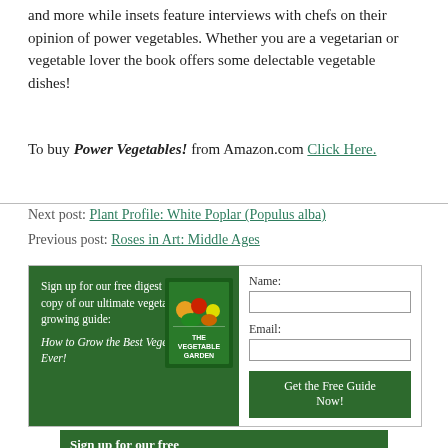and more while insets feature interviews with chefs on their opinion of power vegetables. Whether you are a vegetarian or vegetable lover the book offers some delectable vegetable dishes!
To buy Power Vegetables! from Amazon.com Click Here.
Next post: Plant Profile: White Poplar (Populus alba)
Previous post: Roses in Art: Middle Ages
[Figure (infographic): Sign-up form with green background on left showing text about free digest and vegetable garden guide, with book cover image, and form fields for Name and Email on the right with a green Get the Free Guide Now button.]
Sign up for our free